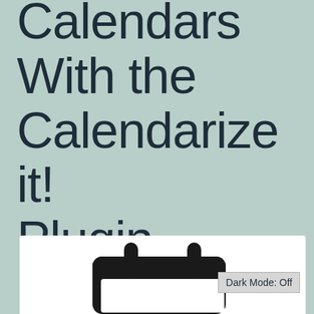Event Calendars With the Calendarize it! Plugin
[Figure (screenshot): Bottom portion of a screenshot showing a calendar plugin interface with a dark calendar icon and a 'Dark Mode: Off' button in the lower right corner.]